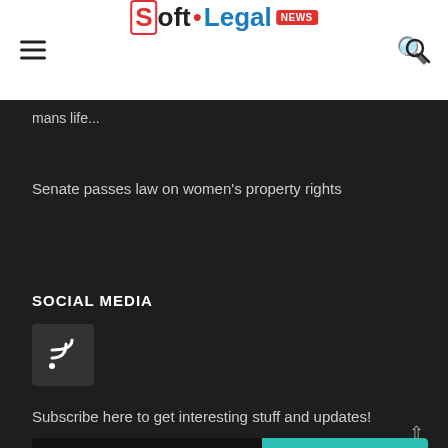[Figure (logo): Soft.Legal NEWS logo with hamburger menu and search icon in white header bar]
mans life...
Senate passes law on women's property rights
SOCIAL MEDIA
[Figure (illustration): RSS feed icon button in dark grey square]
Subscribe here to get interesting stuff and updates!
Email Address  Subscribe